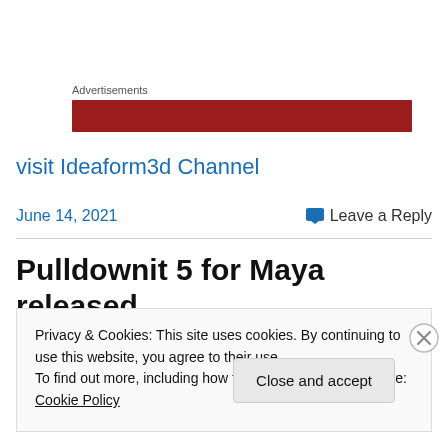Advertisements
[Figure (other): Red advertisement banner]
visit Ideaform3d Channel
June 14, 2021
Leave a Reply
Pulldownit 5 for Maya released
Privacy & Cookies: This site uses cookies. By continuing to use this website, you agree to their use.
To find out more, including how to control cookies, see here: Cookie Policy
Close and accept